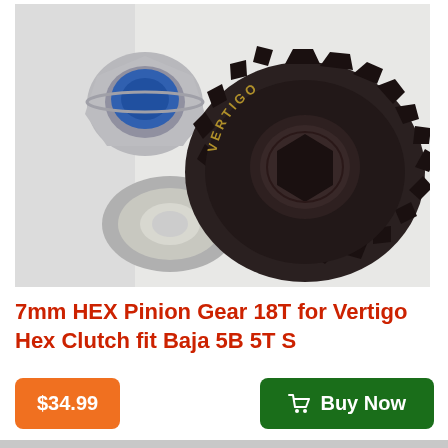[Figure (photo): Photo of a 7mm HEX Pinion Gear 18T for Vertigo Hex Clutch, showing the dark metal gear with 'VERTIGO' text engraved, alongside a metal lock nut (chrome with blue insert) and a metal washer/split ring, on a light grey/white background.]
7mm HEX Pinion Gear 18T for Vertigo Hex Clutch fit Baja 5B 5T S
$34.99
Buy Now